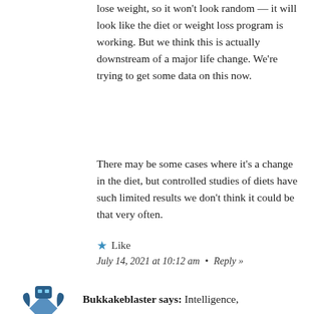lose weight, so it won't look random — it will look like the diet or weight loss program is working. But we think this is actually downstream of a major life change. We're trying to get some data on this now.
There may be some cases where it's a change in the diet, but controlled studies of diets have such limited results we don't think it could be that very often.
★ Like
July 14, 2021 at 10:12 am • Reply »
[Figure (illustration): A small blue/dark avatar icon showing a stylized crab or robot mascot figure]
Bukkakeblaster says: Intelligence,